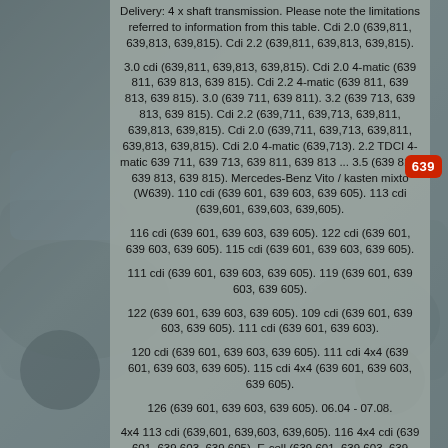Delivery: 4 x shaft transmission. Please note the limitations referred to information from this table. Cdi 2.0 (639,811, 639,813, 639,815). Cdi 2.2 (639,811, 639,813, 639,815).
3.0 cdi (639,811, 639,813, 639,815). Cdi 2.0 4-matic (639 811, 639 813, 639 815). Cdi 2.2 4-matic (639 811, 639 813, 639 815). 3.0 (639 711, 639 811). 3.2 (639 713, 639 813, 639 815). Cdi 2.2 (639,711, 639,713, 639,811, 639,813, 639,815). Cdi 2.0 (639,711, 639,713, 639,811, 639,813, 639,815). Cdi 2.0 4-matic (639,713). 2.2 TDCI 4-matic 639 711, 639 713, 639 811, 639 813 ... 3.5 (639 811, 639 813, 639 815). Mercedes-Benz Vito / kasten mixto (W639). 110 cdi (639 601, 639 603, 639 605). 113 cdi (639,601, 639,603, 639,605).
116 cdi (639 601, 639 603, 639 605). 122 cdi (639 601, 639 603, 639 605). 115 cdi (639 601, 639 603, 639 605).
111 cdi (639 601, 639 603, 639 605). 119 (639 601, 639 603, 639 605).
122 (639 601, 639 603, 639 605). 109 cdi (639 601, 639 603, 639 605). 111 cdi (639 601, 639 603).
120 cdi (639 601, 639 603, 639 605). 111 cdi 4x4 (639 601, 639 603, 639 605). 115 cdi 4x4 (639 601, 639 603, 639 605).
126 (639 601, 639 603, 639 605). 06.04 - 07.08.
4x4 113 cdi (639,601, 639,603, 639,605). 116 4x4 cdi (639 601, 639 603, 639 605). E-cell (639 601, 639 603, 639 605).